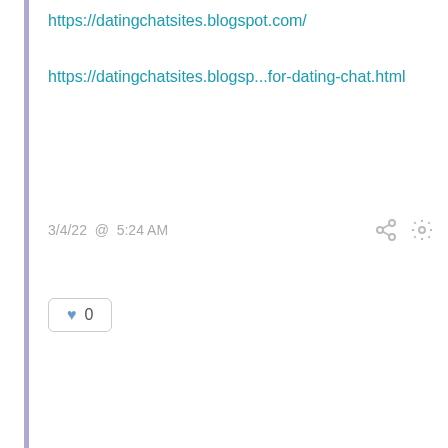https://datingchatsites.blogspot.com/
https://datingchatsites.blogsp...for-dating-chat.html
3/4/22  @  5:24 AM
♥  0
GM  girl mobile number friendship Islamabad (Guest)
Are you looking for the famous Call Girl of Luxury Islamabad Escorts here? Are you ready for this amazing sexy Islamabad escorts? In our escort service in Islamabad, I prove that I am the most acceptable and good call girls in Islamabad. There are a lot of clients who come here just to have sex with me. Actually, my goal is to fulfill them 100%.